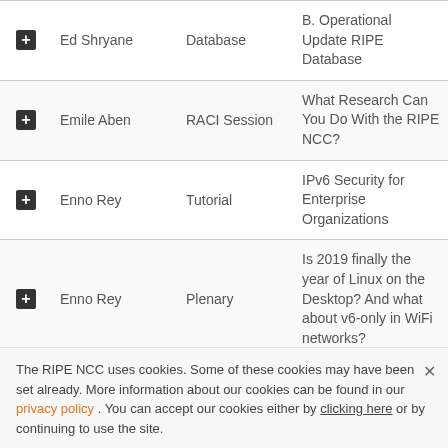|  | Speaker | Type | Title |
| --- | --- | --- | --- |
| + | Ed Shryane | Database | B. Operational Update RIPE Database |
| + | Emile Aben | RACI Session | What Research Can You Do With the RIPE NCC? |
| + | Enno Rey | Tutorial | IPv6 Security for Enterprise Organizations |
| + | Enno Rey | Plenary | Is 2019 finally the year of Linux on the Desktop? And what about v6-only in WiFi networks? |
The RIPE NCC uses cookies. Some of these cookies may have been set already. More information about our cookies can be found in our privacy policy . You can accept our cookies either by clicking here or by continuing to use the site.